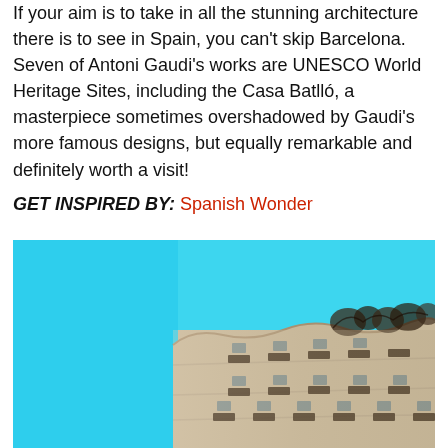If your aim is to take in all the stunning architecture there is to see in Spain, you can't skip Barcelona. Seven of Antoni Gaudi's works are UNESCO World Heritage Sites, including the Casa Batlló, a masterpiece sometimes overshadowed by Gaudi's more famous designs, but equally remarkable and definitely worth a visit!
GET INSPIRED BY: Spanish Wonder
[Figure (photo): Upward-angle photograph of Casa Milà (La Pedrera) by Antoni Gaudí in Barcelona, showing the distinctive wavy stone facade with ornate ironwork balconies against a bright blue sky.]